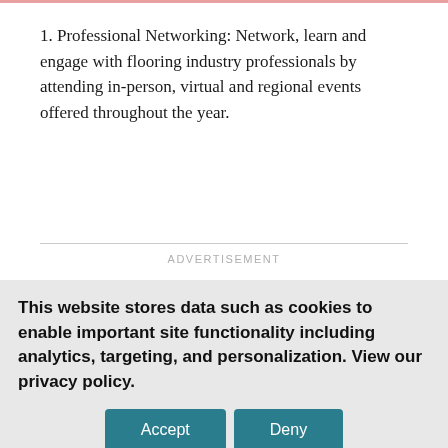1. Professional Networking: Network, learn and engage with flooring industry professionals by attending in-person, virtual and regional events offered throughout the year.
ADVERTISEMENT
This website stores data such as cookies to enable important site functionality including analytics, targeting, and personalization. View our privacy policy.